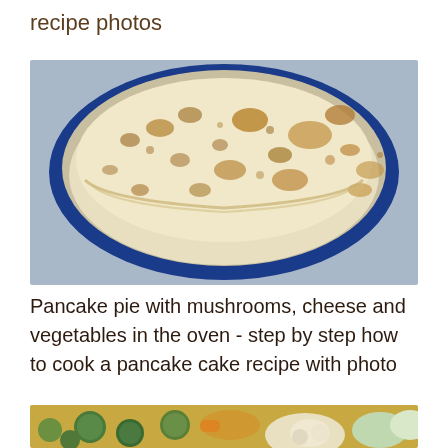recipe photos
[Figure (photo): A stack of thin pancakes/crepes with golden-brown spots arranged on a dark blue plate, viewed from above.]
Pancake pie with mushrooms, cheese and vegetables in the oven - step by step how to cook a pancake cake recipe with photo
[Figure (photo): A bowl of mixed vegetables including brussels sprouts, cauliflower, and other colorful vegetables, partially visible at the bottom of the page.]